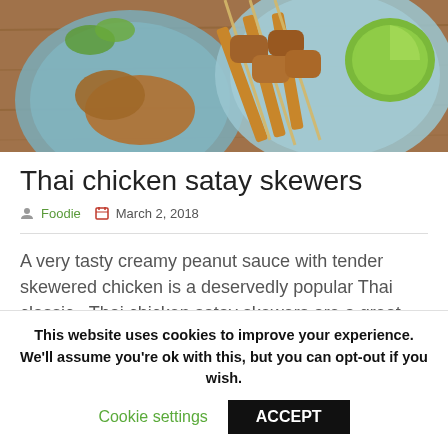[Figure (photo): Thai chicken satay skewers on blue plates with lime wedge, viewed from above on wooden surface]
Thai chicken satay skewers
Foodie   March 2, 2018
A very tasty creamy peanut sauce with tender skewered chicken is a deservedly popular Thai classic.  Thai chicken satay skewers are a great dish you service guests as a starter to any meal.  Try more Thai recipe here. Thai chicken satay skewers recipe Ingredients 1 lb. boneless, skinless chicken breasts 36 water-soaked bamboo skewers For [...]
This website uses cookies to improve your experience. We'll assume you're ok with this, but you can opt-out if you wish.
Cookie settings   ACCEPT